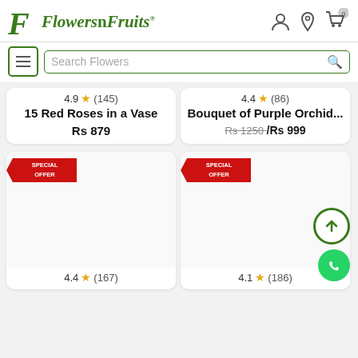Flowers n Fruits
Search Flowers
4.9 ★ (145)
15 Red Roses in a Vase
Rs 879
4.4 ★ (86)
Bouquet of Purple Orchid...
Rs 1250- / Rs 999
[Figure (screenshot): Product card with SPECIAL OFFER badge, empty image area]
[Figure (screenshot): Product card with SPECIAL OFFER badge, empty image area]
4.4 ★ (167)
4.1 ★ (186)